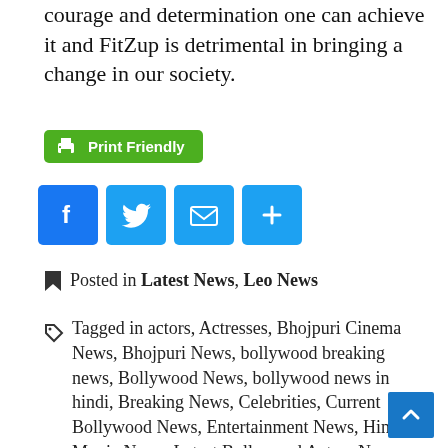courage and determination one can achieve it and FitZup is detrimental in bringing a change in our society.
[Figure (other): Print Friendly green button]
[Figure (other): Social share icons: Facebook, Twitter, Email, More]
Posted in Latest News, Leo News
Tagged in actors, Actresses, Bhojpuri Cinema News, Bhojpuri News, bollywood breaking news, Bollywood News, bollywood news in hindi, Breaking News, Celebrities, Current Bollywood News, Entertainment News, Hindi Movie News, Latest Bollywood Actors News, Latest Bollywood Gossip, Latest News On Bhojpuri, Movies, mumbai bollywood news, Top Bollywood Breaking News